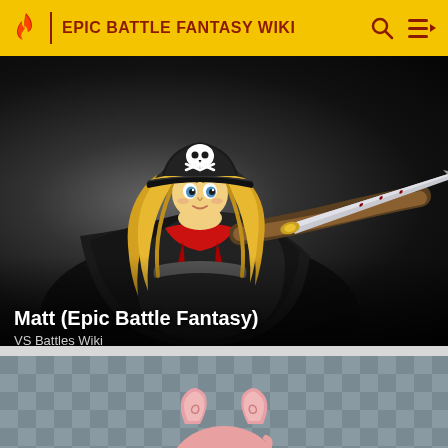EPIC BATTLE FANTASY WIKI
[Figure (illustration): Anime-style pirate character with blonde hair, pirate hat with skull and crossbones, holding a large sword, dark background]
Matt (Epic Battle Fantasy)
VS Battles Wiki
[Figure (illustration): Pink pig/rabbit-like creature with spiral markings on ears, shown from behind, on a grey checkered background]